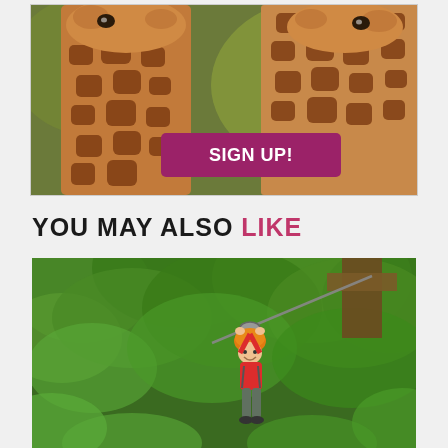[Figure (photo): Two giraffes close together with a magenta 'SIGN UP!' button overlaid on the image, shown inside a bordered card]
YOU MAY ALSO LIKE
[Figure (photo): A child wearing an orange helmet and red shirt riding a zipline through green trees in a forest canopy adventure course]